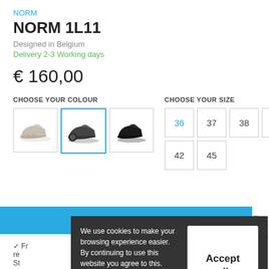NORM
NORM 1L11
Designed in Belgium
Delivery 2-3 Working days
€ 160,00
CHOOSE YOUR COLOUR
[Figure (photo): Three sneaker colour options shown in boxes; second (dark grey/black) is selected with blue border]
CHOOSE YOUR SIZE
36 37 38 39 42 45 — size selector boxes, 36 highlighted in blue
[Figure (screenshot): Blue add-to-cart button bar at bottom]
We use cookies to make your browsing experience easier. By continuing to use this website you agree to this. YOU CAN FIND MORE INFORMATION IN OUR GENERAL TERMS & CONDICTIONS.
Accept all cookies